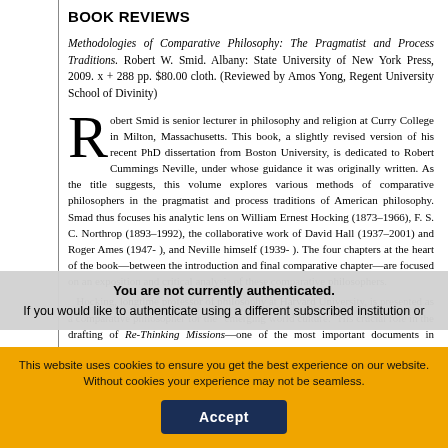BOOK REVIEWS
Methodologies of Comparative Philosophy: The Pragmatist and Process Traditions. Robert W. Smid. Albany: State University of New York Press, 2009. x + 288 pp. $80.00 cloth. (Reviewed by Amos Yong, Regent University School of Divinity)
Robert Smid is senior lecturer in philosophy and religion at Curry College in Milton, Massachusetts. This book, a slightly revised version of his recent PhD dissertation from Boston University, is dedicated to Robert Cummings Neville, under whose guidance it was originally written. As the title suggests, this volume explores various methods of comparative philosophers in the pragmatist and process traditions of American philosophy. Smad thus focuses his analytic lens on William Ernest Hocking (1873–1966), F. S. C. Northrop (1893–1992), the collaborative work of David Hall (1937–2001) and Roger Ames (1947- ), and Neville himself (1939- ). The four chapters at the heart of the book—between the introduction and final comparative chapter—are focused on an exposition and critical analysis of these comparative philosophers.
Hocking, longtime professor of philosophy at Harvard University, is presented as a comparative philosopher for the "emerging world culture." His crucial role in the drafting of Re-Thinking Missions—one of the most important documents in Protestant mission theory published by the Laymen's Foreign Missions Inquiry Commiss— and his seminal essays for the fledgling subfield o, "Chu Hsi's Theory of
You are not currently authenticated.
If you would like to authenticate using a different subscribed institution or
This website uses cookies to ensure you get the best experience on our website. Without cookies your experience may not be seamless.
Accept